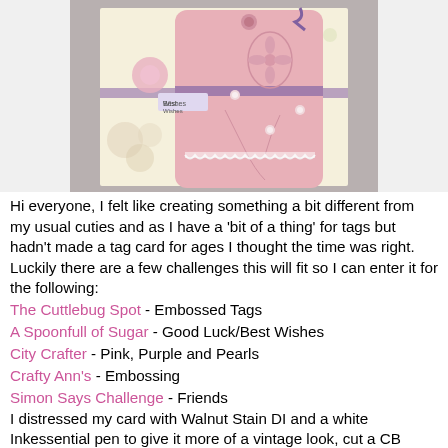[Figure (photo): A handmade tag card with pink embossed floral tag, lace trim, pearl embellishments, purple ribbon, and a 'Best Wishes' label on floral patterned background paper.]
Hi everyone, I felt like creating something a bit different from my usual cuties and as I have a 'bit of a thing' for tags but hadn't made a tag card for ages I thought the time was right. Luckily there are a few challenges this will fit so I can enter it for the following:
The Cuttlebug Spot - Embossed Tags
A Spoonfull of Sugar - Good Luck/Best Wishes
City Crafter - Pink, Purple and Pearls
Crafty Ann's - Embossing
Simon Says Challenge - Friends
I distressed my card with Walnut Stain DI and a white Inkessential pen to give it more of a vintage look, cut a CB 'vintage' die in half to make some corners and finished off